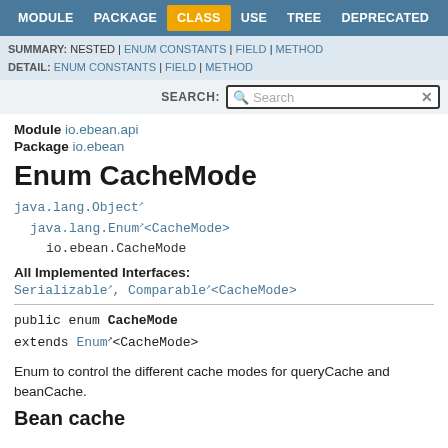MODULE  PACKAGE  CLASS  USE  TREE  DEPRECATED  INDEX  HELP
SUMMARY: NESTED | ENUM CONSTANTS | FIELD | METHOD
DETAIL: ENUM CONSTANTS | FIELD | METHOD
Module io.ebean.api
Package io.ebean
Enum CacheMode
java.lang.Object
    java.lang.Enum<CacheMode>
        io.ebean.CacheMode
All Implemented Interfaces:
Serializable, Comparable<CacheMode>
public enum CacheMode
extends Enum<CacheMode>
Enum to control the different cache modes for queryCache and beanCache.
Bean cache